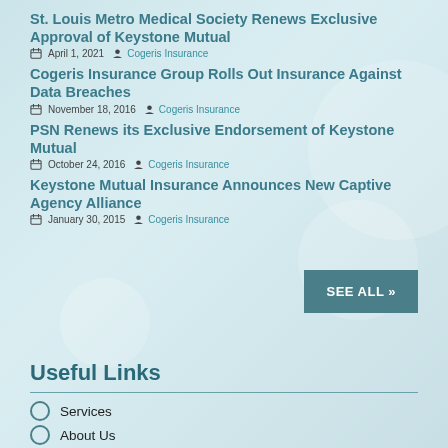St. Louis Metro Medical Society Renews Exclusive Approval of Keystone Mutual
April 1, 2021  Cogeris Insurance
Cogeris Insurance Group Rolls Out Insurance Against Data Breaches
November 18, 2016  Cogeris Insurance
PSN Renews its Exclusive Endorsement of Keystone Mutual
October 24, 2016  Cogeris Insurance
Keystone Mutual Insurance Announces New Captive Agency Alliance
January 30, 2015  Cogeris Insurance
SEE ALL »
Useful Links
Services
About Us
Board of Directors
Cogeris News